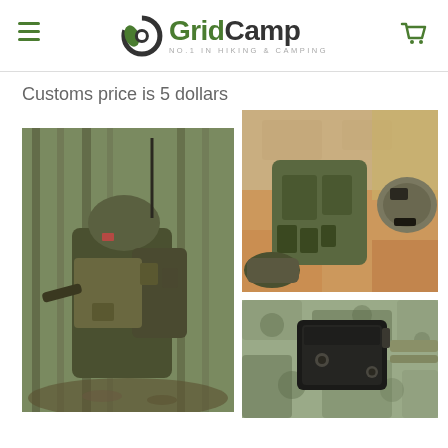GridCamp — No.1 in Hiking & Camping
Customs price is 5 dollars
[Figure (photo): Soldier in camouflage gear with backpack and tactical equipment in a forest setting]
[Figure (photo): Tactical vest, helmet, and military gear laid out on a patterned surface]
[Figure (photo): Close-up of a holster or tactical pouch mounted on camouflage fabric]